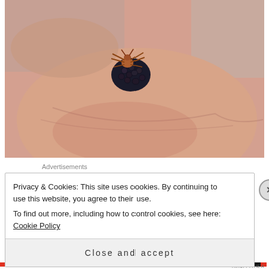[Figure (photo): A close-up photo of a human hand (palm up) holding a small dark blackberry with what appears to be a small orange/brown crab spider or similar arachnid sitting on top of the berry.]
Advertisements
Privacy & Cookies: This site uses cookies. By continuing to use this website, you agree to their use.
To find out more, including how to control cookies, see here: Cookie Policy
Close and accept